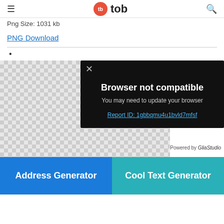tb tob
Png Size: 1031 kb
PNG Download
[Figure (screenshot): Screenshot of a webpage showing a 'Browser not compatible' modal dialog over a transparent checkerboard image preview. The modal reads: 'Browser not compatible / You may need to update your browser / Report ID: 1gbbqmu4u1bvld7mfsf'. Bottom of page has two banners: 'Address Generator' in blue and 'Cool Text Generator' in teal.]